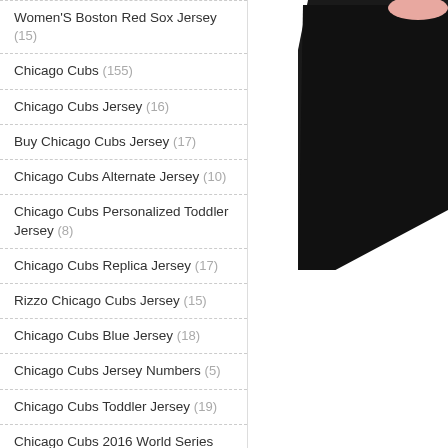Women'S Boston Red Sox Jersey (15)
Chicago Cubs (155)
Chicago Cubs Jersey (16)
Buy Chicago Cubs Jersey (17)
Chicago Cubs Alternate Jersey (10)
Chicago Cubs Personalized Toddler Jersey (8)
Chicago Cubs Replica Jersey (17)
Rizzo Chicago Cubs Jersey (15)
Chicago Cubs Blue Jersey (18)
Chicago Cubs Jersey Numbers (5)
Chicago Cubs Toddler Jersey (19)
Chicago Cubs 2016 World Series Jersey (9)
Chicago Cubs Youth Jersey (21)
New York Yankees (150)
[Figure (photo): Product photo of a dark/black jersey against white background, partially visible in upper right of page]